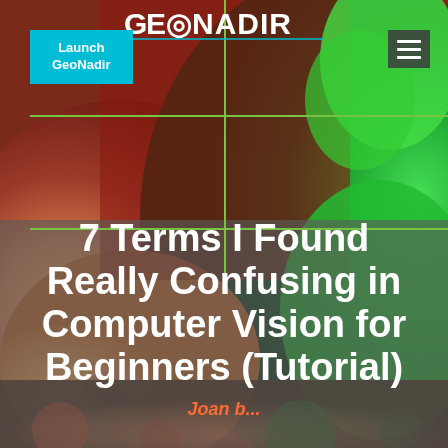[Figure (screenshot): Website screenshot showing GeoNadir header with two cats photo background — an orange sleeping cat on the left and a green-tinted cat on the right. Navigation bar with cyan 'Launch GeoNadir' button on left and hamburger menu on right. Green grid/crosshair overlay on the photo. Lower half has a semi-transparent gray overlay with large white bold title text and author name in orange.]
GeoNadir
Launch GeoNadir
7 Terms I Found Really Confusing in Computer Vision for Beginners (Tutorial)
Joan b...